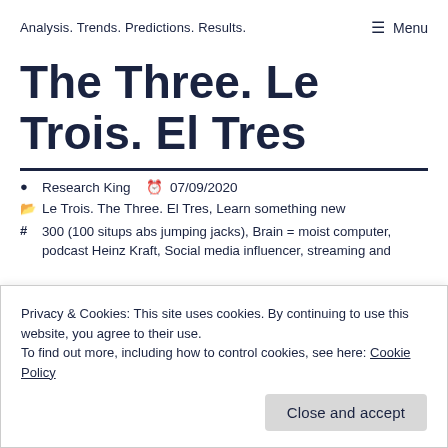Analysis. Trends. Predictions. Results.   ☰ Menu
The Three. Le Trois. El Tres
Research King   07/09/2020
Le Trois. The Three. El Tres, Learn something new
300 (100 situps abs jumping jacks), Brain = moist computer, podcast Heinz Kraft, Social media influencer, streaming and
Privacy & Cookies: This site uses cookies. By continuing to use this website, you agree to their use.
To find out more, including how to control cookies, see here: Cookie Policy
Close and accept